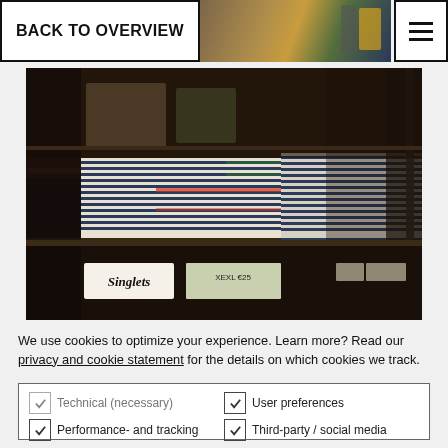BACK TO OVERVIEW
[Figure (photo): Photo of folded striped shirts on retail store shelves with price tags reading 'Singlets' and 'XEXL €25']
We use cookies to optimize your experience. Learn more? Read our privacy and cookie statement for the details on which cookies we track.
Technical (necessary) | User preferences | Performance- and tracking | Third-party / social media | OK